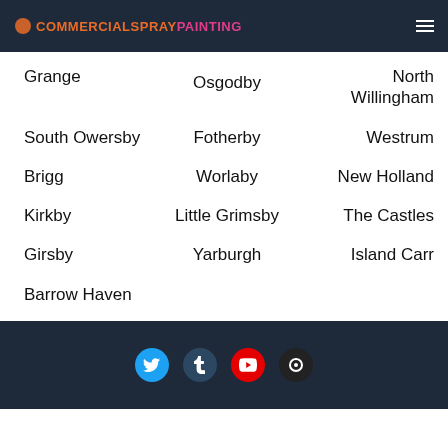COMMERCIALSPRAYPAINTING
Grange
Osgodby
North Willingham
South Owersby
Fotherby
Westrum
Brigg
Worlaby
New Holland
Kirkby
Little Grimsby
The Castles
Girsby
Yarburgh
Island Carr
Barrow Haven
Social links: Twitter, Tumblr, YouTube, Other